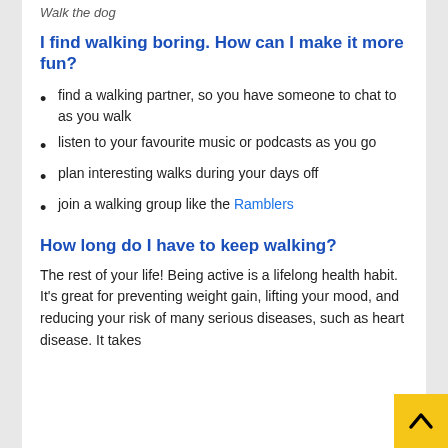Walk the dog
I find walking boring. How can I make it more fun?
find a walking partner, so you have someone to chat to as you walk
listen to your favourite music or podcasts as you go
plan interesting walks during your days off
join a walking group like the Ramblers
How long do I have to keep walking?
The rest of your life! Being active is a lifelong health habit. It’s great for preventing weight gain, lifting your mood, and reducing your risk of many serious diseases, such as heart disease. It takes